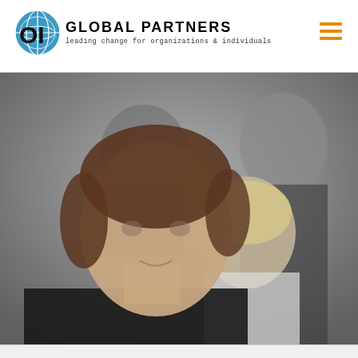[Figure (logo): OI Global Partners logo with blue globe icon, bold text 'OI GLOBAL PARTNERS', tagline 'leading change for organizations & individuals']
[Figure (other): Hamburger menu icon with three orange horizontal bars]
[Figure (photo): Business professionals portrait photo showing three people: a woman with brown hair in foreground, a blonde woman in middle ground, and a man in background, all wearing dark business attire]